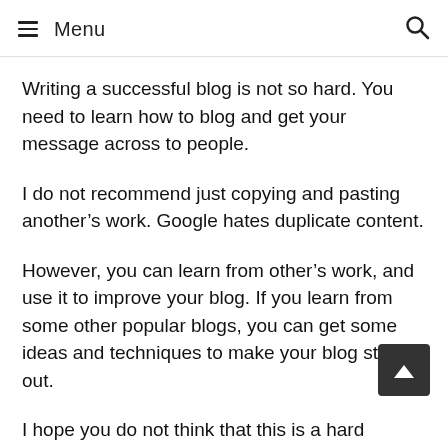Menu
Writing a successful blog is not so hard. You need to learn how to blog and get your message across to people.
I do not recommend just copying and pasting another’s work. Google hates duplicate content.
However, you can learn from other’s work, and use it to improve your blog. If you learn from some other popular blogs, you can get some ideas and techniques to make your blog stand out.
I hope you do not think that this is a hard